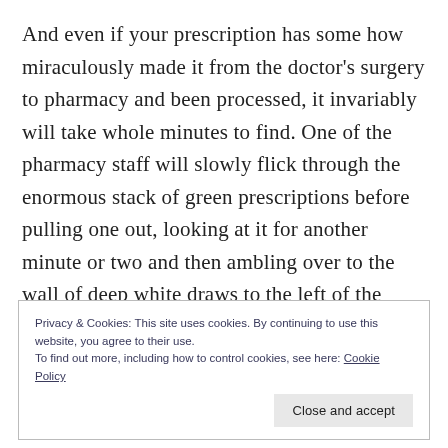And even if your prescription has some how miraculously made it from the doctor's surgery to pharmacy and been processed, it invariably will take whole minutes to find. One of the pharmacy staff will slowly flick through the enormous stack of green prescriptions before pulling one out, looking at it for another minute or two and then ambling over to the wall of deep white draws to the left of the counter. Slowly and without any sense of urgency
Privacy & Cookies: This site uses cookies. By continuing to use this website, you agree to their use.
To find out more, including how to control cookies, see here: Cookie Policy